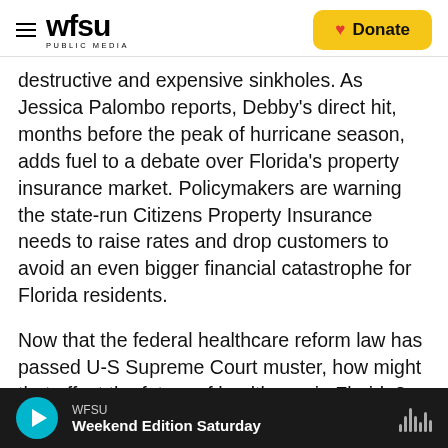WFSU PUBLIC MEDIA | Donate
destructive and expensive sinkholes. As Jessica Palombo reports, Debby's direct hit, months before the peak of hurricane season, adds fuel to a debate over Florida's property insurance market. Policymakers are warning the state-run Citizens Property Insurance needs to raise rates and drop customers to avoid an even bigger financial catastrophe for Florida residents.
Now that the federal healthcare reform law has passed U-S Supreme Court muster, how might that affect the future of healthcare in Florida? That was the question a state insurance panel debated this
WFSU | Weekend Edition Saturday